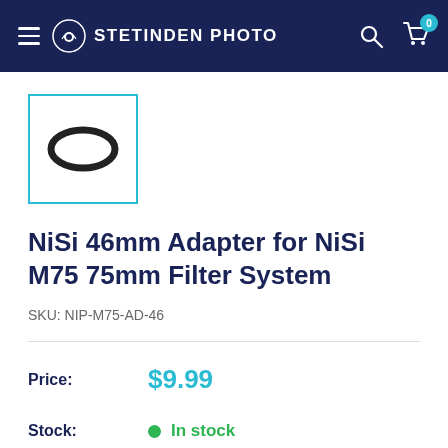STETINDEN PHOTO
[Figure (photo): Product thumbnail image showing a black adapter ring (circular ring shape) inside a cyan-bordered square box]
NiSi 46mm Adapter for NiSi M75 75mm Filter System
SKU: NIP-M75-AD-46
Price: $9.99
Stock: In stock